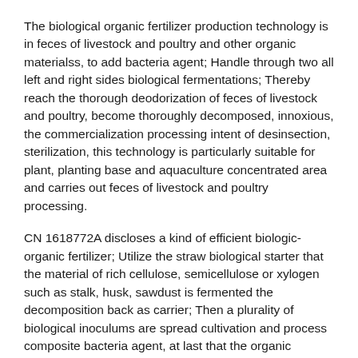The biological organic fertilizer production technology is in feces of livestock and poultry and other organic materialss, to add bacteria agent; Handle through two all left and right sides biological fermentations; Thereby reach the thorough deodorization of feces of livestock and poultry, become thoroughly decomposed, innoxious, the commercialization processing intent of desinsection, sterilization, this technology is particularly suitable for plant, planting base and aquaculture concentrated area and carries out feces of livestock and poultry processing.
CN 1618772A discloses a kind of efficient biologic-organic fertilizer; Utilize the straw biological starter that the material of rich cellulose, semicellulose or xylogen such as stalk, husk, sawdust is fermented the decomposition back as carrier; Then a plurality of biological inoculums are spread cultivation and process composite bacteria agent, at last that the organic materials that ferments, composite bacteria agent and an amount of mineral substance, trace element is formulated according to a certain percentage.
CN 101353274A provides a kind of humic acid organic biological compound fertilizer, includes effective